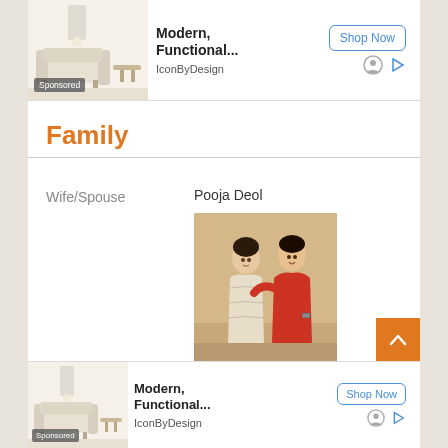[Figure (screenshot): Advertisement banner for IconByDesign showing modern furniture, with 'Modern, Functional...' headline, 'Shop Now' button, and 'Sponsored' label]
Family
| Wife/Spouse | Pooja Deol |
| Children | Sons- Karan and Rajvir |
[Figure (photo): Couple photo: a woman in a light embroidered saree and a man in a red shirt posing together indoors]
[Figure (screenshot): Advertisement banner for IconByDesign at bottom of page showing modern furniture, with 'Modern, Functional...' headline, 'Shop Now' button, and 'Sponsored' label]